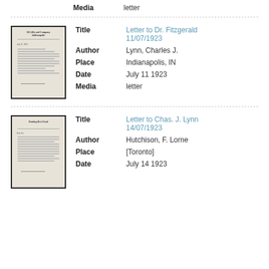Media   letter
[Figure (photo): Thumbnail of a letter document with letterhead, dated text, body text lines, and a signature area.]
Title   Letter to Dr. Fitzgerald 11/07/1923
Author   Lynn, Charles J.
Place   Indianapolis, IN
Date   July 11 1923
Media   letter
[Figure (photo): Thumbnail of a letter document with letterhead, body text paragraphs, and a signature area.]
Title   Letter to Chas. J. Lynn 14/07/1923
Author   Hutchison, F. Lorne
Place   [Toronto]
Date   July 14 1923